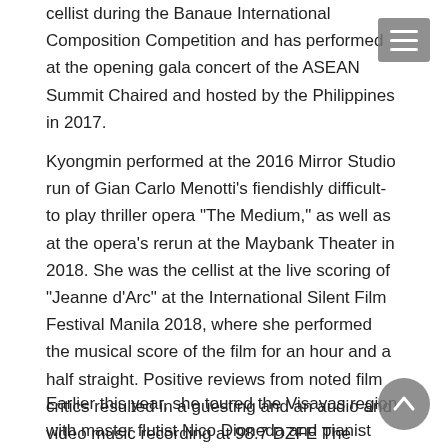cellist during the Banaue International Composition Competition and has performed at the opening gala concert of the ASEAN Summit Chaired and hosted by the Philippines in 2017.
Kyongmin performed at the 2016 Mirror Studio run of Gian Carlo Menotti’s fiendishly difficult-to play thriller opera “The Medium,” as well as at the opera’s rerun at the Maybank Theater in 2018. She was the cellist at the live scoring of “Jeanne d’Arc” at the International Silent Film Festival Manila 2018, where she performed the musical score of the film for an hour and a half straight. Positive reviews from noted film critics resulted in a guesting and an audio and video music recording at 98.7 DZFE The Master’s Touch, the only classical radio station in the Philippines.
Earlier this year, she toured the Visayas region with master flutist Nico Dioneda and pianist Dingdong Fiel to perform in